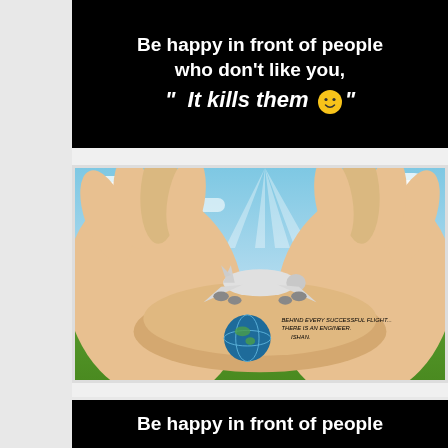[Figure (infographic): Black background motivational quote card: 'Be happy in front of people who don't like you, " It kills them 😊"']
[Figure (illustration): Composite image of two hands held open with a small airplane flying above them and a globe of Earth resting in the palms, with sky and green grass background. Text overlay reads 'BEHIND EVERY SUCCESSFUL FLIGHT... THERE IS AN ENGINEER. ISHAN.']
[Figure (infographic): Partially visible black background motivational quote card starting with 'Be happy in front of people']